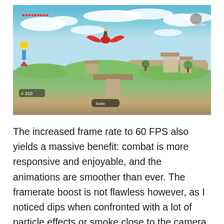[Figure (screenshot): Screenshot from The Legend of Zelda: Skyward Sword showing Link riding a red Loftwing bird over a floating island village with buildings, trees, green grass patches, and a blue sky with white clouds. HUD elements visible: heart containers in top-left, rupee/item counters on left side, a compass in top-right, and a target reticle at the bottom center.]
The increased frame rate to 60 FPS also yields a massive benefit: combat is more responsive and enjoyable, and the animations are smoother than ever. The framerate boost is not flawless however, as I noticed dips when confronted with a lot of particle effects or smoke close to the camera. In addition to this, there are points in the game where playing the